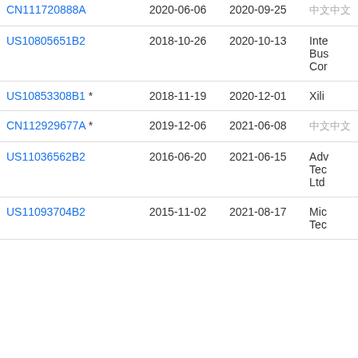| Patent Number | Filed | Published | Assignee |
| --- | --- | --- | --- |
| CN111720388A | 2020-06-06 | 2020-09-25 | 中文 |
| US10805651B2 | 2018-10-26 | 2020-10-13 | Inte... Bus... Cor... |
| US10853308B1 * | 2018-11-19 | 2020-12-01 | Xili... |
| CN112929677A * | 2019-12-06 | 2021-06-08 | 中文中文 |
| US11036562B2 | 2016-06-20 | 2021-06-15 | Adv... Tec... Ltd... |
| US11093704B2 | 2015-11-02 | 2021-08-17 | Mic... Tec... |